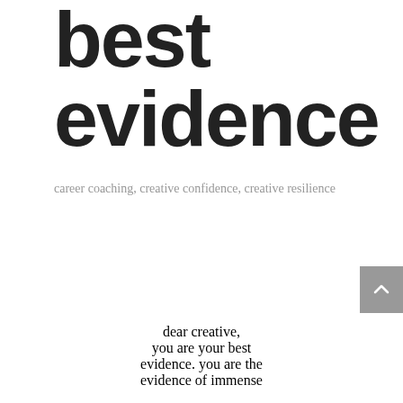best evidence
career coaching, creative confidence, creative resilience
dear creative, you are your best evidence. you are the evidence of immense